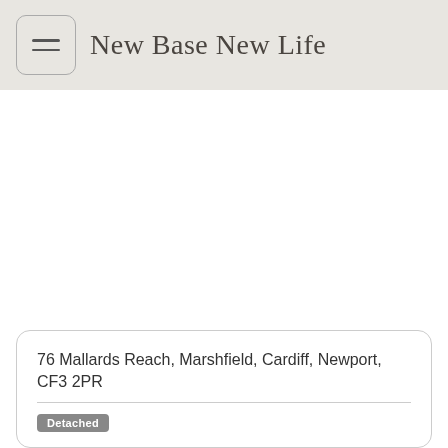New Base New Life
76 Mallards Reach, Marshfield, Cardiff, Newport, CF3 2PR
Detached